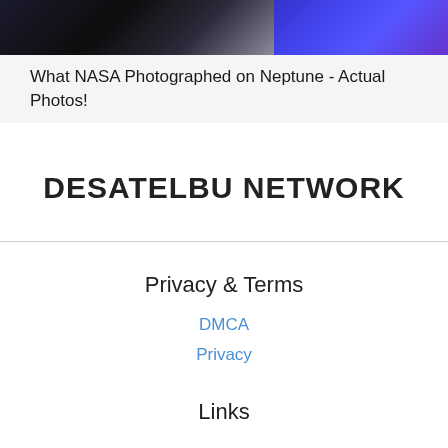[Figure (photo): Split image banner: left half shows dark/black space-like image, right half shows blue/purple space image]
What NASA Photographed on Neptune - Actual Photos!
DESATELBU NETWORK
Privacy & Terms
DMCA
Privacy
Links
© Copyright : youtube.com